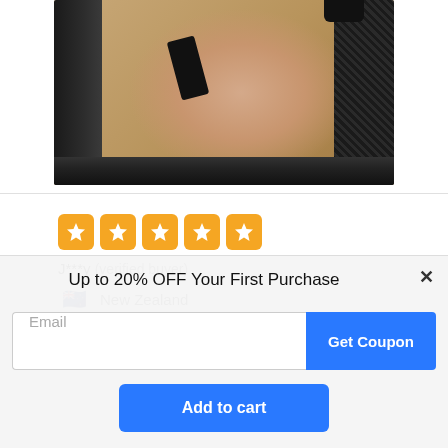[Figure (photo): Close-up photo of a person's elbow/arm wearing a black knee or elbow brace/support against a wooden table background]
J***y (verified buyer)
🇳🇿 New Zealand
Up to 20% OFF Your First Purchase
Email
Get Coupon
Add to cart